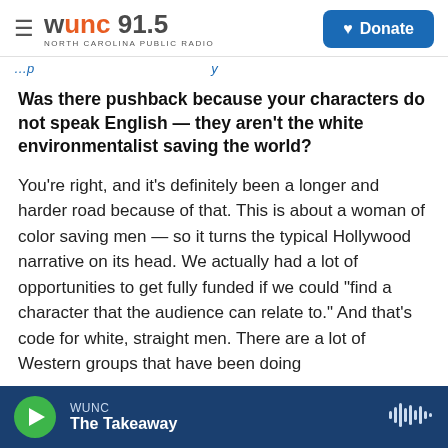WUNC 91.5 NORTH CAROLINA PUBLIC RADIO | Donate
…ng…y
Was there pushback because your characters do not speak English — they aren't the white environmentalist saving the world?
You're right, and it's definitely been a longer and harder road because of that. This is about a woman of color saving men — so it turns the typical Hollywood narrative on its head. We actually had a lot of opportunities to get fully funded if we could "find a character that the audience can relate to." And that's code for white, straight men. There are a lot of Western groups that have been doing
WUNC | The Takeaway